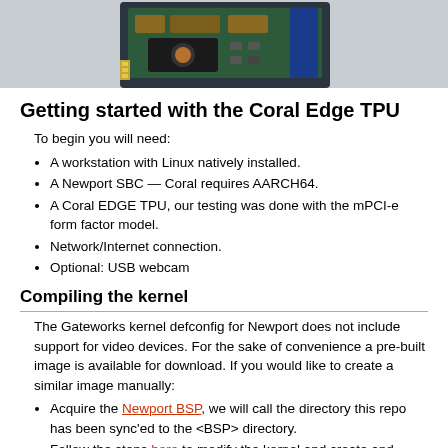[Figure (photo): Photo of a Coral Edge TPU circuit board / hardware module, shown at the top of the page against a light gray background.]
Getting started with the Coral Edge TPU
To begin you will need:
A workstation with Linux natively installed.
A Newport SBC — Coral requires AARCH64.
A Coral EDGE TPU, our testing was done with the mPCI-e form factor model.
Network/Internet connection.
Optional: USB webcam
Compiling the kernel
The Gateworks kernel defconfig for Newport does not include support for video devices. For the sake of convenience a pre-built image is available for download. If you would like to create a similar image manually:
Acquire the Newport BSP, we will call the directory this repo has been sync'ed to the <BSP> directory.
Follow the steps here to modify the kernel and create and Ubuntu image.
In the menuconfig enable the module "USB_VIDEO_CLASS", this will allow you to use a USB webcam with v4l utils.